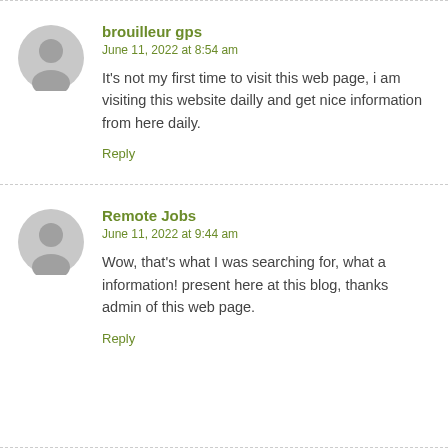brouilleur gps
June 11, 2022 at 8:54 am
It's not my first time to visit this web page, i am visiting this website dailly and get nice information from here daily.
Reply
Remote Jobs
June 11, 2022 at 9:44 am
Wow, that's what I was searching for, what a information! present here at this blog, thanks admin of this web page.
Reply